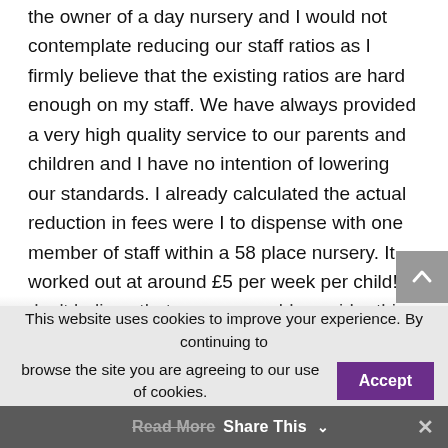the owner of a day nursery and I would not contemplate reducing our staff ratios as I firmly believe that the existing ratios are hard enough on my staff. We have always provided a very high quality service to our parents and children and I have no intention of lowering our standards. I already calculated the actual reduction in fees were I to dispense with one member of staff within a 58 place nursery. It worked out at around £5 per week per child! I don't believe that anyone would consider this a real reduction.
This website uses cookies to improve your experience. By continuing to browse the site you are agreeing to our use of cookies.
Share This